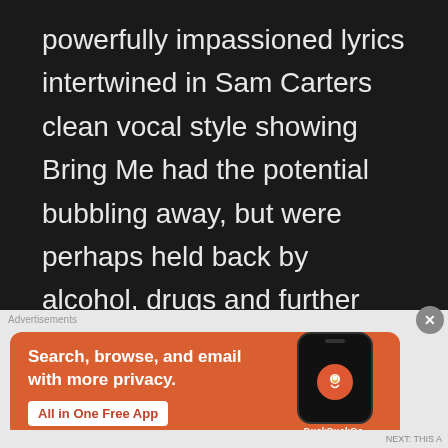powerfully impassioned lyrics intertwined in Sam Carters clean vocal style showing Bring Me had the potential bubbling away, but were perhaps held back by alcohol, drugs and further personal issues, later to be admitted to the public.

The albums title track however, is possibly one of the most underrated tracks in all Bring Me The Horizon's discography. An intensely raw
[Figure (infographic): DuckDuckGo advertisement banner with orange background. Left side shows bold white text: 'Search, browse, and email with more privacy.' with a white button 'All in One Free App'. Right side shows a phone mockup displaying the DuckDuckGo logo and brand name.]